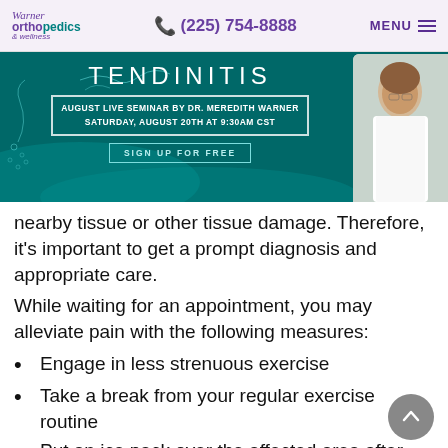Warner Orthopedics & Wellness | (225) 754-8888 | MENU
[Figure (infographic): Tendinitis seminar promotional banner with teal background. Title: TENDINITIS. Subtitle: AUGUST LIVE SEMINAR BY DR. MEREDITH WARNER SATURDAY, AUGUST 20TH AT 9:30AM CST. Button: SIGN UP FOR FREE. Photo of Dr. Meredith Warner in white coat on right side.]
nearby tissue or other tissue damage. Therefore, it's important to get a prompt diagnosis and appropriate care.
While waiting for an appointment, you may alleviate pain with the following measures:
Engage in less strenuous exercise
Take a break from your regular exercise routine
Put an ice pack over the affected area after